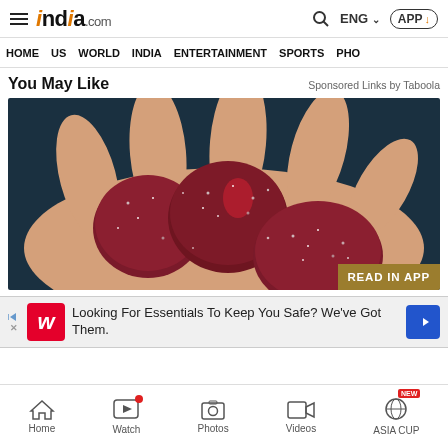india.com — ENG APP
HOME  US  WORLD  INDIA  ENTERTAINMENT  SPORTS  PHO
You May Like
Sponsored Links by Taboola
[Figure (photo): A hand holding several dark red/maroon sugar-coated gummy candies against a dark background. A 'READ IN APP' badge appears in the bottom right corner.]
Looking For Essentials To Keep You Safe? We've Got Them.
Home  Watch  Photos  Videos  ASIA CUP